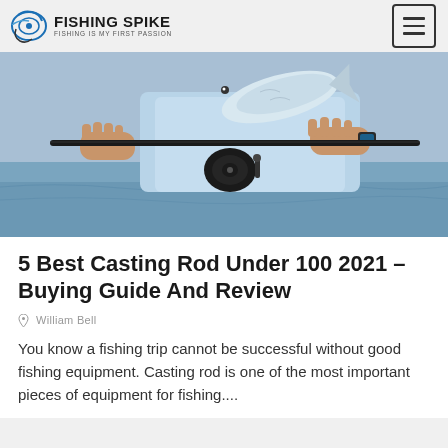FISHING SPIKE — FISHING IS MY FIRST PASSION
[Figure (photo): Close-up of a person holding a fishing rod and a fish over water, hands visible gripping the rod and fish]
5 Best Casting Rod Under 100 2021 – Buying Guide And Review
William Bell
You know a fishing trip cannot be successful without good fishing equipment. Casting rod is one of the most important pieces of equipment for fishing....